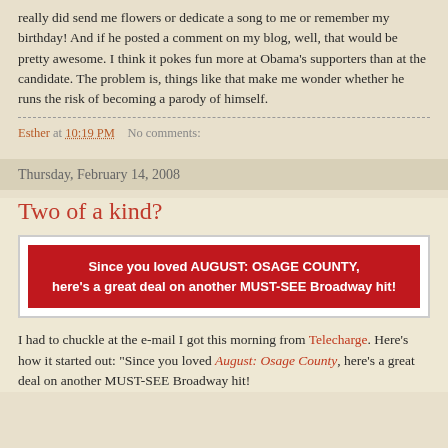really did send me flowers or dedicate a song to me or remember my birthday! And if he posted a comment on my blog, well, that would be pretty awesome. I think it pokes fun more at Obama's supporters than at the candidate. The problem is, things like that make me wonder whether he runs the risk of becoming a parody of himself.
Esther at 10:19 PM   No comments:
Thursday, February 14, 2008
Two of a kind?
[Figure (other): Red advertisement banner: Since you loved AUGUST: OSAGE COUNTY, here's a great deal on another MUST-SEE Broadway hit!]
I had to chuckle at the e-mail I got this morning from Telecharge. Here's how it started out: "Since you loved August: Osage County, here's a great deal on another MUST-SEE Broadway hit!